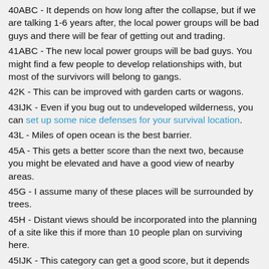40ABC - It depends on how long after the collapse, but if we are talking 1-6 years after, the local power groups will be bad guys and there will be fear of getting out and trading.
41ABC - The new local power groups will be bad guys. You might find a few people to develop relationships with, but most of the survivors will belong to gangs.
42K - This can be improved with garden carts or wagons.
43IJK - Even if you bug out to undeveloped wilderness, you can set up some nice defenses for your survival location.
43L - Miles of open ocean is the best barrier.
45A - This gets a better score than the next two, because you might be elevated and have a good view of nearby areas.
45G - I assume many of these places will be surrounded by trees.
45H - Distant views should be incorporated into the planning of a site like this if more than 10 people plan on surviving here.
45IJK - This category can get a good score, but it depends on terrain and potentially clear-cutting the surrounding area, but I only recommend clear-cutting if you have a large group. In most cases, you won't have a large group.